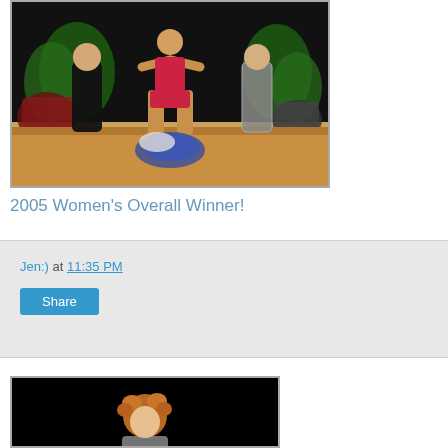[Figure (photo): A muscular female bodybuilder in a red bikini posing on stage with arms raised wide, flanked by two other women, on a wooden stage with dark background, plants, and motorcycles visible]
2005 Women's Overall Winner!
Jen:) at 11:35 PM
[Figure (photo): A person with reddish-blonde curly hair on a dark/black background, partially visible at bottom of frame]